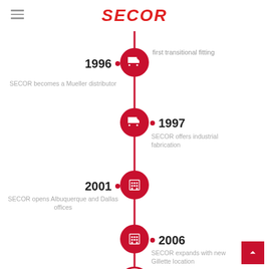SECOR
[Figure (infographic): Vertical timeline with milestones: 1996 - first transitional fitting / SECOR becomes a Mueller distributor; 1997 - SECOR offers industrial fabrication; 2001 - SECOR opens Albuquerque and Dallas offices; 2006 - SECOR expands with new Gillette location; 2010 (icon only visible)]